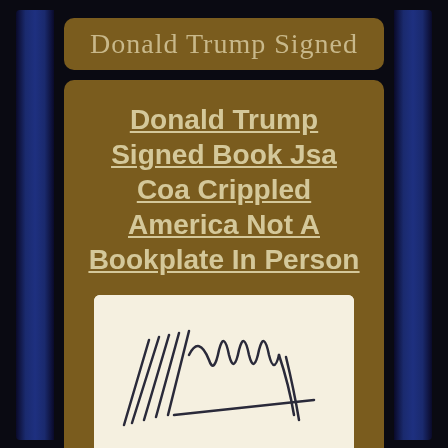Donald Trump Signed
Donald Trump Signed Book Jsa Coa Crippled America Not A Bookplate In Person
[Figure (photo): Close-up photo of Donald Trump's signature on a cream/beige page. The signature is written in dark ink with bold, angular strokes.]